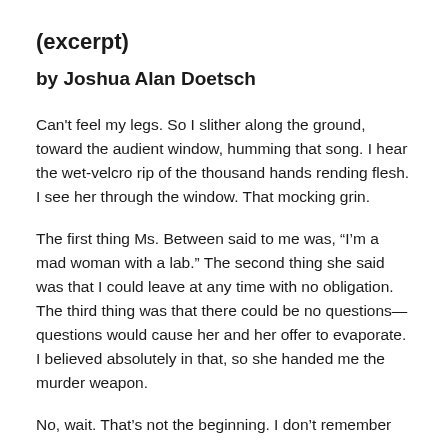(excerpt)
by Joshua Alan Doetsch
Can't feel my legs. So I slither along the ground, toward the audient window, humming that song. I hear the wet-velcro rip of the thousand hands rending flesh. I see her through the window. That mocking grin.
The first thing Ms. Between said to me was, “I’m a mad woman with a lab.” The second thing she said was that I could leave at any time with no obligation. The third thing was that there could be no questions—questions would cause her and her offer to evaporate. I believed absolutely in that, so she handed me the murder weapon.
No, wait. That’s not the beginning. I don’t remember